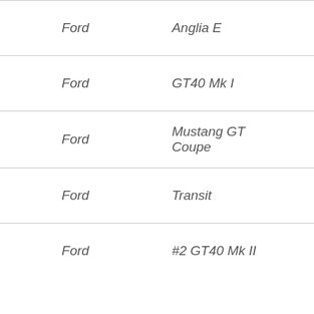| Ford | Anglia E |
| Ford | GT40 Mk I |
| Ford | Mustang GT Coupe |
| Ford | Transit |
| Ford | #2 GT40 Mk II |